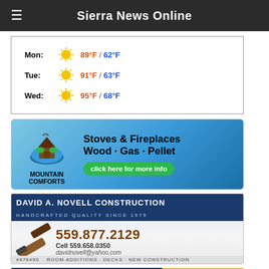Sierra News Online
[Figure (infographic): Weather forecast widget showing Mon: 89°F / 62°F, Tue: 91°F / 63°F, Wed: 95°F / 68°F with sun icons]
[Figure (infographic): Mountain Comforts advertisement - Stoves & Fireplaces, Wood · Gas · Pellet, click here for more info]
[Figure (infographic): David A. Novell Construction advertisement - Handcrafted Quality Since 1979, 559.877.2129, Cell 559.658.0350, davidnovell@yahoo.com, Room Additions · Decks · New Construction]
[Figure (infographic): Helping the mountain community thrive advertisement banner]